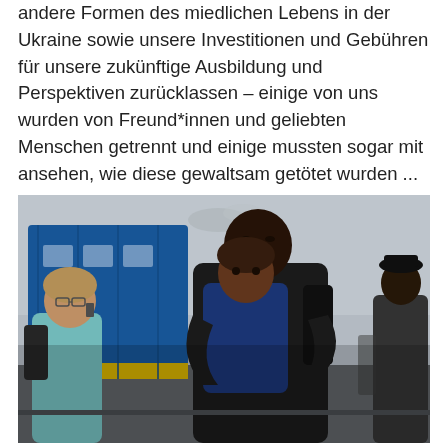andere Formen des miedlichen Lebens in der Ukraine sowie unsere Investitionen und Gebühren für unsere zukünftige Ausbildung und Perspektiven zurücklassen – einige von uns wurden von Freund*innen und geliebten Menschen getrennt und einige mussten sogar mit ansehen, wie diese gewaltsam getötet wurden ...
[Figure (photo): A man holding a child tightly at a train station, with a blue train in the background and a woman on the phone to the left. Scene depicts refugees fleeing Ukraine.]